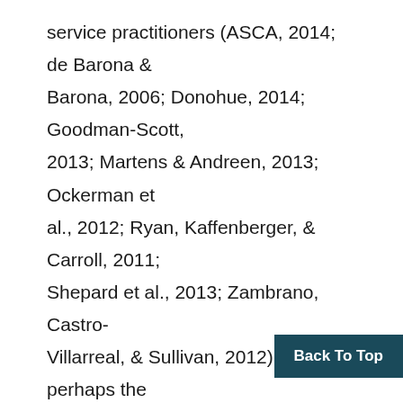service practitioners (ASCA, 2014; de Barona & Barona, 2006; Donohue, 2014; Goodman-Scott, 2013; Martens & Andreen, 2013; Ockerman et al., 2012; Ryan, Kaffenberger, & Carroll, 2011; Shepard et al., 2013; Zambrano, Castro-Villarreal, & Sullivan, 2012). With perhaps the exception of Goodman-Scott et al. (2016), who provided a useful alignment of the ASCA National Model (2012a) with PBIS practices, there are few evidence-based resources for school counselor educators to draw upon in order to rework their pre-service courses to include MTSS curriculum and instruction. To successfully prepare counselors to work in PBIS or RTI schools, students must understand